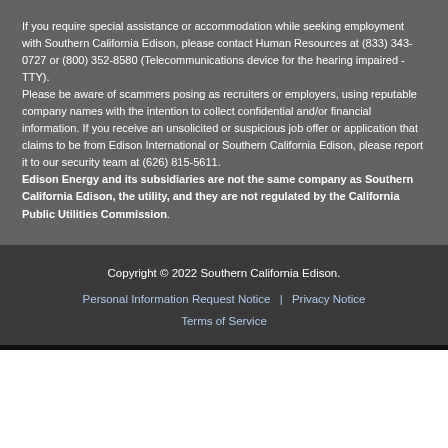If you require special assistance or accommodation while seeking employment with Southern California Edison, please contact Human Resources at (833) 343-0727 or (800) 352-8580 (Telecommunications device for the hearing impaired - TTY).
Please be aware of scammers posing as recruiters or employers, using reputable company names with the intention to collect confidential and/or financial information. If you receive an unsolicited or suspicious job offer or application that claims to be from Edison International or Southern California Edison, please report it to our security team at (626) 815-5611.
Edison Energy and its subsidiaries are not the same company as Southern California Edison, the utility, and they are not regulated by the California Public Utilities Commission.
Copyright © 2022 Southern California Edison. | Personal Information Request Notice | Privacy Notice | Terms of Service